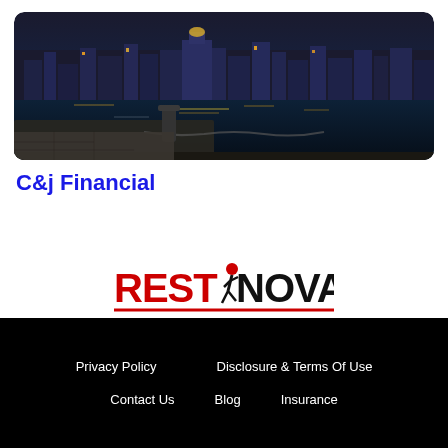[Figure (photo): Nighttime city skyline reflected on water, with dock and chain in foreground]
C&j Financial
[Figure (logo): RestNova logo with red REST text, figure icon, and black NOVA text, with red underline]
Privacy Policy   Disclosure & Terms Of Use   Contact Us   Blog   Insurance